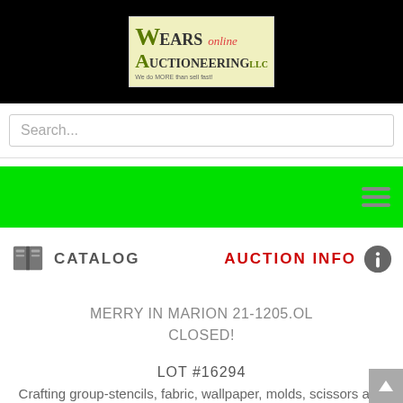[Figure (logo): Wears Online Auctioneering logo in yellow-green box on black header bar]
Search...
[Figure (screenshot): Green navigation bar with hamburger menu icon on the right]
[Figure (illustration): Open book icon next to CATALOG label]
CATALOG
AUCTION INFO
[Figure (illustration): Info icon (i in circle) next to AUCTION INFO label]
MERRY IN MARION 21-1205.OL
CLOSED!
LOT #16294
Crafting group-stencils, fabric, wallpaper, molds, scissors and more